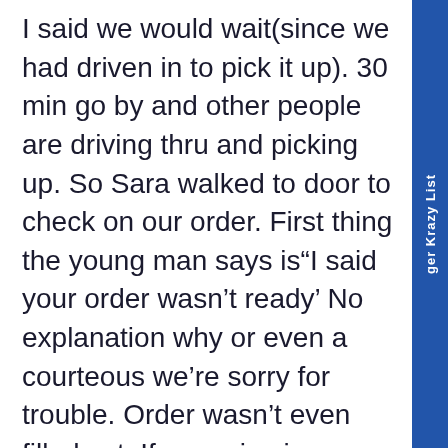I said we would wait(since we had driven in to pick it up). 30 min go by and other people are driving thru and picking up. So Sara walked to door to check on our order. First thing the young man says is“I said your order wasn’t ready’ No explanation why or even a courteous we’re sorry for trouble. Order wasn’t even filled yet. If a service is offered then honor it. We would have been ok if man had EVEN acted apologetic. She cancelled order. Sara has been a great customer for many years. Afraid you just lost her. I just wanted someone to know what happened. Someone needs some customer service education!!!
ger Krazy List